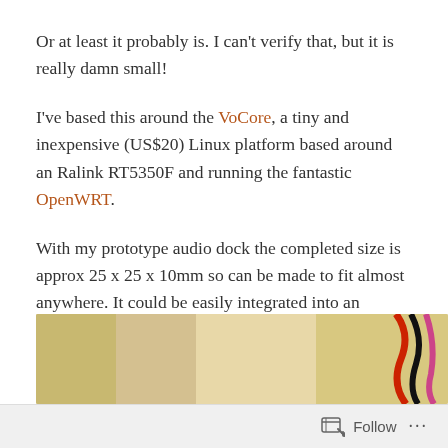Or at least it probably is. I can't verify that, but it is really damn small!
I've based this around the VoCore, a tiny and inexpensive (US$20) Linux platform based around an Ralink RT5350F and running the fantastic OpenWRT.
With my prototype audio dock the completed size is approx 25 x 25 x 10mm so can be made to fit almost anywhere. It could be easily integrated into an existing amplifier or set of powered speakers, enabling AirPlay-enablement of practically anything.
[Figure (photo): Partial photo of electronic components on a wooden surface with colored wires (red, black, pink) visible on the right side]
Follow ...